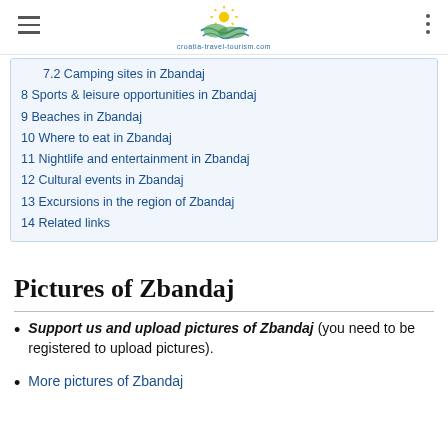croatia-travel-tourism.com
7.2 Camping sites in Zbandaj
8 Sports & leisure opportunities in Zbandaj
9 Beaches in Zbandaj
10 Where to eat in Zbandaj
11 Nightlife and entertainment in Zbandaj
12 Cultural events in Zbandaj
13 Excursions in the region of Zbandaj
14 Related links
Pictures of Zbandaj
Support us and upload pictures of Zbandaj (you need to be registered to upload pictures).
More pictures of Zbandaj